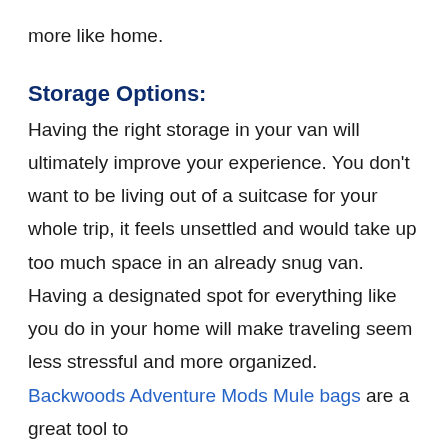more like home.
Storage Options:
Having the right storage in your van will ultimately improve your experience. You don't want to be living out of a suitcase for your whole trip, it feels unsettled and would take up too much space in an already snug van. Having a designated spot for everything like you do in your home will make traveling seem less stressful and more organized. Backwoods Adventure Mods Mule bags are a great tool to